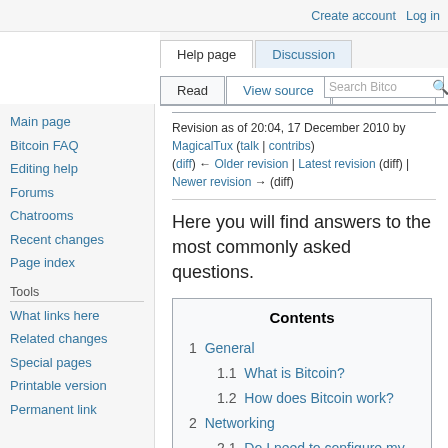Create account   Log in
Help page | Discussion | Read | View source | View history | Search Bitco
Main page
Bitcoin FAQ
Editing help
Forums
Chatrooms
Recent changes
Page index
Tools
What links here
Related changes
Special pages
Printable version
Permanent link
Revision as of 20:04, 17 December 2010 by MagicalTux (talk | contribs)
(diff) ← Older revision | Latest revision (diff) | Newer revision → (diff)
Here you will find answers to the most commonly asked questions.
Contents
1 General
  1.1 What is Bitcoin?
  1.2 How does Bitcoin work?
2 Networking
  2.1 Do I need to configure my firewall to run bitcoin?